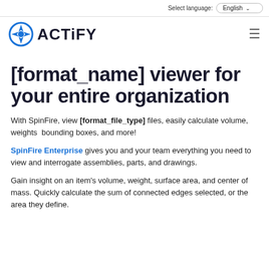Select language: English
[Figure (logo): Actify logo with spinning wheel icon and bold ACTIFY text]
[format_name] viewer for your entire organization
With SpinFire, view [format_file_type] files, easily calculate volume, weights  bounding boxes, and more!
SpinFire Enterprise gives you and your team everything you need to view and interrogate assemblies, parts, and drawings.
Gain insight on an item's volume, weight, surface area, and center of mass. Quickly calculate the sum of connected edges selected, or the area they define.